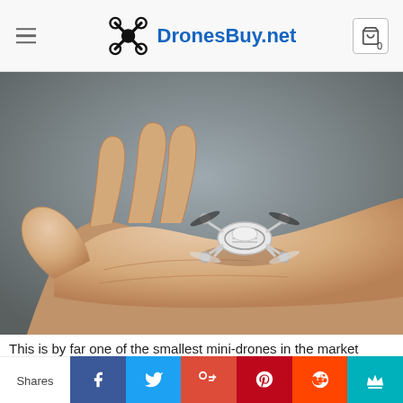DronesBuy.net
[Figure (photo): A tiny white mini-drone sitting in the palm of an outstretched hand against a gray background. The quadcopter drone is very small, fitting easily in one hand, with four rotors and a white chassis.]
This is by far one of the smallest mini-drones in the market
Shares